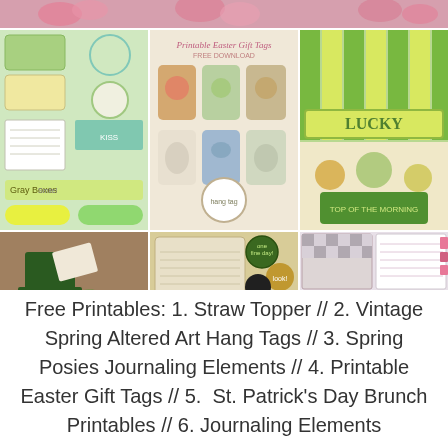[Figure (illustration): Collage of free printable craft images including straw toppers, vintage spring hang tags, spring posies journaling elements, printable Easter gift tags, St. Patrick's Day brunch decorations, and scrapbooking elements]
Free Printables: 1. Straw Topper // 2. Vintage Spring Altered Art Hang Tags // 3. Spring Posies Journaling Elements // 4. Printable Easter Gift Tags // 5.  St. Patrick's Day Brunch Printables // 6. Journaling Elements